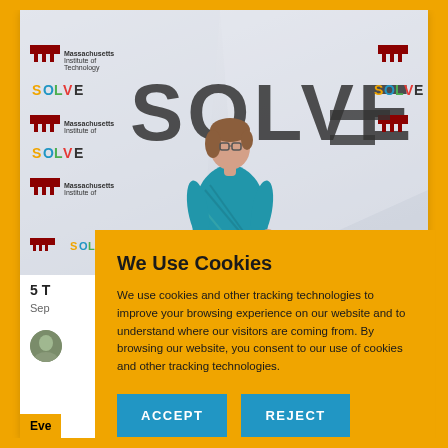[Figure (photo): Woman standing in front of a large MIT SOLVE branded backdrop with repeating MIT and SOLVE logos. The backdrop is white with large bold SOLVE text and colorful SOLVE logos. The woman is wearing a teal patterned dress and glasses.]
5 T...
Sep...
Eve...
We Use Cookies
We use cookies and other tracking technologies to improve your browsing experience on our website and to understand where our visitors are coming from. By browsing our website, you consent to our use of cookies and other tracking technologies.
ACCEPT
REJECT